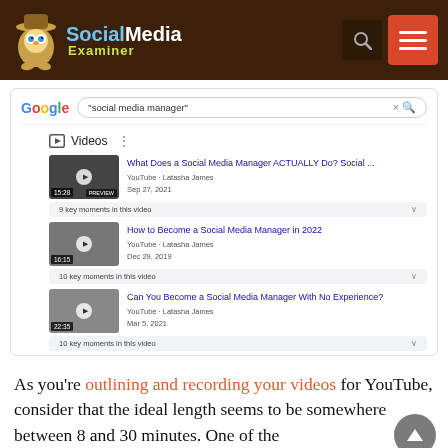[Figure (screenshot): Social Media Examiner website header with logo (mascot owl character), site name 'Social Media Examiner', search icon, and hamburger menu icon on dark brown background]
[Figure (screenshot): Google search results screenshot showing a search for 'social media manager' with a Videos section listing three YouTube videos by Latasha James: 'What Does a Social Media Manager ACTUALLY Do? Social...' (Sep 27, 2021, 9 key moments), 'How to Become a Social Media Manager in 2022' (Dec 29, 2019, 10 key moments), 'Can You Become a Social Media Manager With No Experience?' (Mar 5, 2021, 10 key moments)]
As you're outlining and recording your videos for YouTube, consider that the ideal length seems to be somewhere between 8 and 30 minutes. One of the